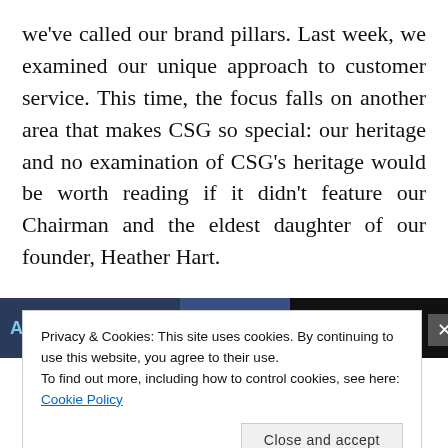we've called our brand pillars. Last week, we examined our unique approach to customer service. This time, the focus falls on another area that makes CSG so special: our heritage and no examination of CSG's heritage would be worth reading if it didn't feature our Chairman and the eldest daughter of our founder, Heather Hart.
[Figure (photo): A dark banner image with partial text 'ASTE' visible on the left side in teal/blue color against a dark navy and black background]
Privacy & Cookies: This site uses cookies. By continuing to use this website, you agree to their use.
To find out more, including how to control cookies, see here: Cookie Policy
Close and accept